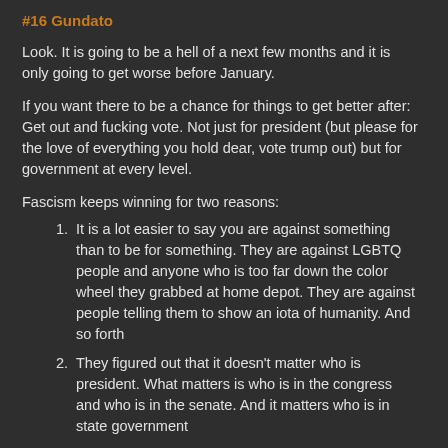#16 Gundato
Look. It is going to be a hell of a next few months and it is only going to get worse before January.
If you want there to be a chance for things to get better after: Get out and fucking vote. Not just for president (but please for the love of everything you hold dear, vote trump out) but for government at every level.
Fascism keeps winning for two reasons:
It is a lot easier to say you are against something than to be for something. They are against LGBTQ people and anyone who is too far down the color wheel they grabbed at home depot. They are against people telling them to show an iota of humanity. And so forth
They figured out that it doesn't matter who is president. What matters is who is in the congress and who is in the senate. And it matters who is in state government